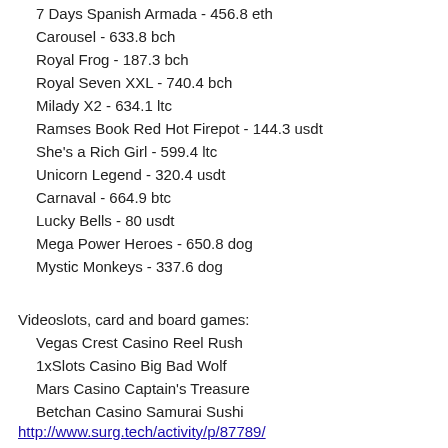7 Days Spanish Armada - 456.8 eth
Carousel - 633.8 bch
Royal Frog - 187.3 bch
Royal Seven XXL - 740.4 bch
Milady X2 - 634.1 ltc
Ramses Book Red Hot Firepot - 144.3 usdt
She's a Rich Girl - 599.4 ltc
Unicorn Legend - 320.4 usdt
Carnaval - 664.9 btc
Lucky Bells - 80 usdt
Mega Power Heroes - 650.8 dog
Mystic Monkeys - 337.6 dog
Videoslots, card and board games:
Vegas Crest Casino Reel Rush
1xSlots Casino Big Bad Wolf
Mars Casino Captain's Treasure
Betchan Casino Samurai Sushi
http://www.surg.tech/activity/p/87789/
https://omniaconsulting.org/forum/profile/casi